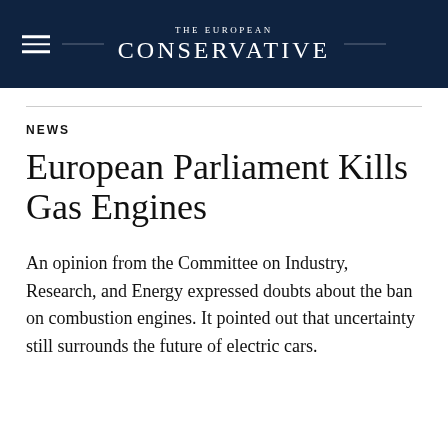The EUROPEAN CONSERVATIVE
NEWS
European Parliament Kills Gas Engines
An opinion from the Committee on Industry, Research, and Energy expressed doubts about the ban on combustion engines. It pointed out that uncertainty still surrounds the future of electric cars.